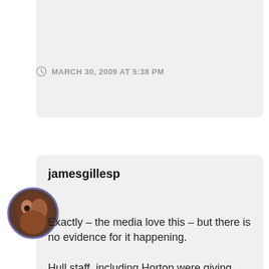MARCH 30, 2009 AT 5:38 PM
jamesgillesp
Exactly – the media love this – but there is no evidence for it happening.

Hull staff, including Horton were giving abuse constantly during the game and then claim that Wenger